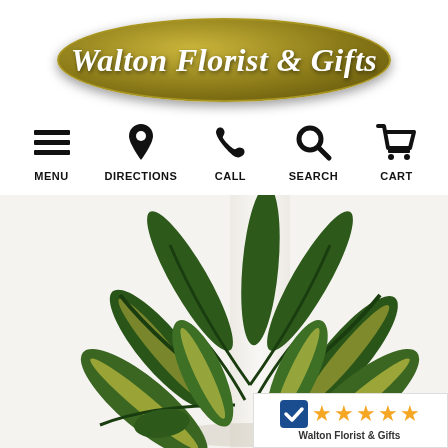[Figure (logo): Walton Florist & Gifts oval logo with gold/olive background and white italic text]
[Figure (infographic): Navigation bar with icons: MENU (hamburger), DIRECTIONS (pin), CALL (phone), SEARCH (magnifier), CART (shopping cart)]
[Figure (photo): Photo of a tropical houseplant (dumbcane/dieffenbachia) with green and yellow variegated leaves in a bright room]
[Figure (infographic): Rating badge showing 5 orange stars and text 'Walton Florist & Gifts' with a blue checkmark icon]